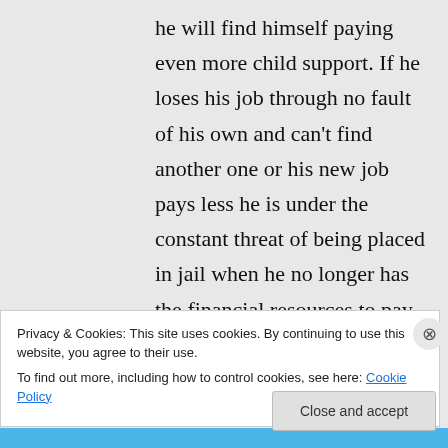he will find himself paying even more child support. If he loses his job through no fault of his own and can't find another one or his new job pays less he is under the constant threat of being placed in jail when he no longer has the financial resources to pay. To top it off his ex can move away
Privacy & Cookies: This site uses cookies. By continuing to use this website, you agree to their use. To find out more, including how to control cookies, see here: Cookie Policy